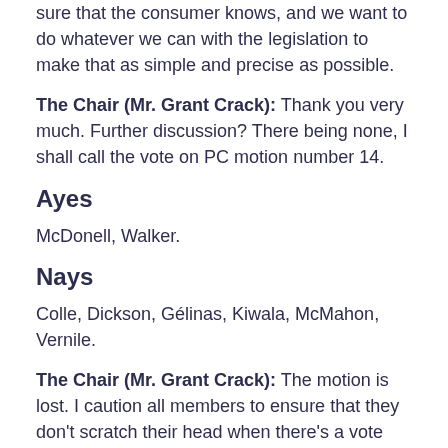sure that the consumer knows, and we want to do whatever we can with the legislation to make that as simple and precise as possible.
The Chair (Mr. Grant Crack): Thank you very much. Further discussion? There being none, I shall call the vote on PC motion number 14.
Ayes
McDonell, Walker.
Nays
Colle, Dickson, Gélinas, Kiwala, McMahon, Vernile.
The Chair (Mr. Grant Crack): The motion is lost. I caution all members to ensure that they don't scratch their head when there's a vote going on. Thank you very much.
We have schedule 1, section 2, completed as far as amendments go. I don't believe there were any that were